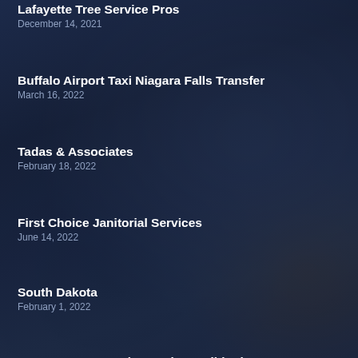Lafayette Tree Service Pros
December 14, 2021
Buffalo Airport Taxi Niagara Falls Transfer
March 16, 2022
Tadas & Associates
February 18, 2022
First Choice Janitorial Services
June 14, 2022
South Dakota
February 1, 2022
Frosty Desert Heating & Air Conditioning